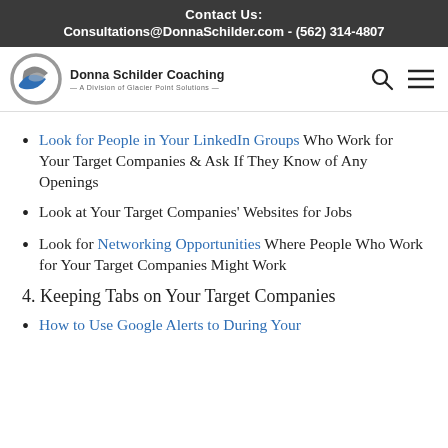Contact Us:
Consultations@DonnaSchilder.com - (562) 314-4807
[Figure (logo): Donna Schilder Coaching logo — circular swoosh icon in grey and blue with brand name and tagline 'A Division of Glacier Point Solutions']
Look for People in Your LinkedIn Groups Who Work for Your Target Companies & Ask If They Know of Any Openings
Look at Your Target Companies' Websites for Jobs
Look for Networking Opportunities Where People Who Work for Your Target Companies Might Work
4. Keeping Tabs on Your Target Companies
How to Use Google Alerts to During Your